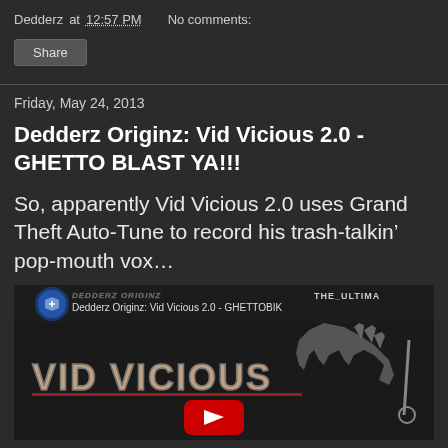Dedderz at 12:57 PM   No comments:
Share
Friday, May 24, 2013
Dedderz Originz: Vid Vicious 2.0 - GHETTO BLAST YA!!!
So, apparently Vid Vicious 2.0 uses Grand Theft Auto-Tune to record his trash-talkin’ pop-mouth vox…
[Figure (screenshot): YouTube video thumbnail showing 'Dedderz Originz: Vid Vicious 2.0 - GHETTOBIK' with stylized 'VID VICIOUS' text and a hand reaching out, YouTube play button visible, text 'THE ULTIMA' in top right]